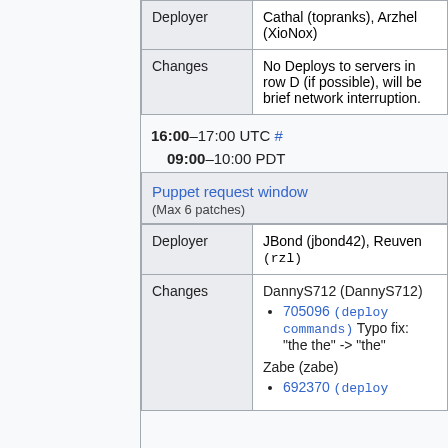|  |  |
| --- | --- |
| Deployer | Cathal (topranks), Arzhel (XioNox) |
| Changes | No Deploys to servers in row D (if possible), will be brief network interruption. |
16:00–17:00 UTC # 09:00–10:00 PDT
|  |  |
| --- | --- |
| Puppet request window (Max 6 patches) |  |
| Deployer | JBond (jbond42), Reuven (rzl) |
| Changes | DannyS712 (DannyS712) • 705096 (deploy commands) Typo fix: "the the" -> "the" Zabe (zabe) • 692370 (deploy |